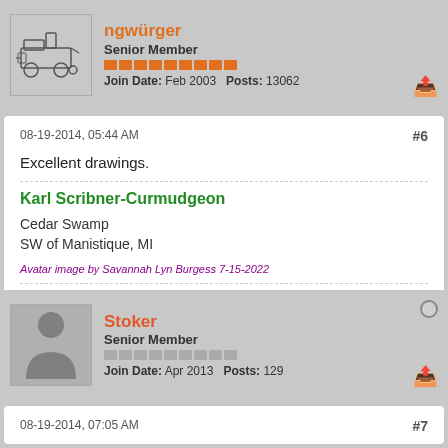[Figure (illustration): User avatar showing a sketch of a steam locomotive]
Senior Member
Join Date: Feb 2003   Posts: 13062
08-19-2014, 05:44 AM
#6
Excellent drawings.
Karl Scribner-Curmudgeon
Cedar Swamp
SW of Manistique, MI
Avatar image by Savannah Lyn Burgess 7-15-2022
[Figure (illustration): Default user avatar showing a generic person silhouette]
Stoker
Senior Member
Join Date: Apr 2013   Posts: 129
08-19-2014, 07:05 AM
#7